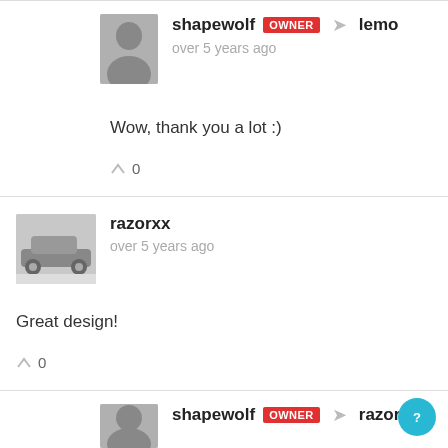shapewolf OWNER → lemo
over 5 years ago
Wow, thank you a lot :)
^ 0
razorxx
over 5 years ago
Great design!
^ 0
shapewolf OWNER → razorxx